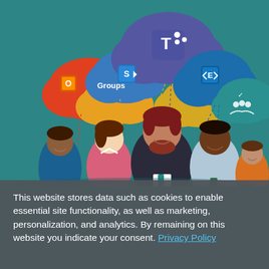[Figure (illustration): Infographic showing five diverse flat-design people standing together with cloud icons above them connected by dashed lines. Clouds contain Microsoft 365 app logos: Office 365 Groups (red cloud, orange icon), SharePoint (blue cloud, white S icon), Microsoft Teams (purple cloud, white T icon), Exchange (blue cloud, white E icon), and a teal cloud with a checkmark/people group icon.]
This website stores data such as cookies to enable essential site functionality, as well as marketing, personalization, and analytics. By remaining on this website you indicate your consent. Privacy Policy